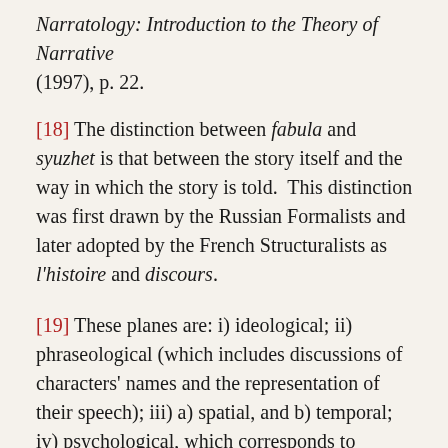Narratology: Introduction to the Theory of Narrative (1997), p. 22.
[18] The distinction between fabula and syuzhet is that between the story itself and the way in which the story is told.  This distinction was first drawn by the Russian Formalists and later adopted by the French Structuralists as l'histoire and discours.
[19] These planes are: i) ideological; ii) phraseological (which includes discussions of characters' names and the representation of their speech); iii) a) spatial, and b) temporal; iv) psychological, which corresponds to Genette's focalization.  Uspensky's work is summarised in